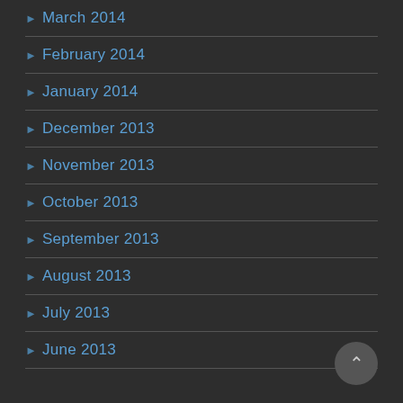> March 2014
> February 2014
> January 2014
> December 2013
> November 2013
> October 2013
> September 2013
> August 2013
> July 2013
> June 2013